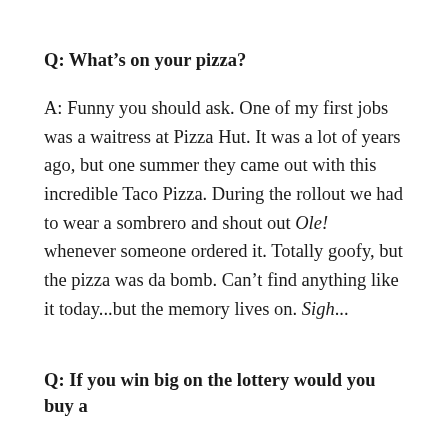Q: What's on your pizza?
A: Funny you should ask. One of my first jobs was a waitress at Pizza Hut. It was a lot of years ago, but one summer they came out with this incredible Taco Pizza. During the rollout we had to wear a sombrero and shout out Ole! whenever someone ordered it. Totally goofy, but the pizza was da bomb. Can't find anything like it today...but the memory lives on. Sigh...
Q: If you win big on the lottery would you buy a